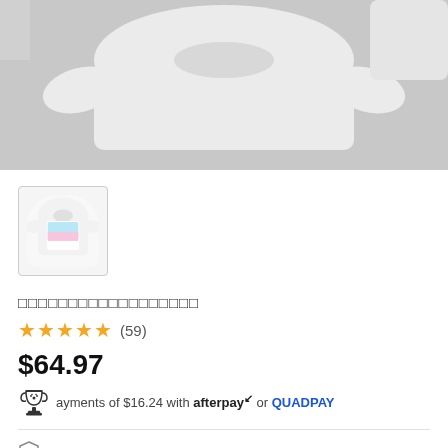[Figure (photo): Main product image showing a white sweatshirt on a gray background]
[Figure (photo): Thumbnail image of white sweatshirt with colorful anime graphic on front]
□□□□□□□□□□□□□□□□□□
★★★★★ (59)
$64.97
ayments of $16.24 with afterpay or QUADPAY